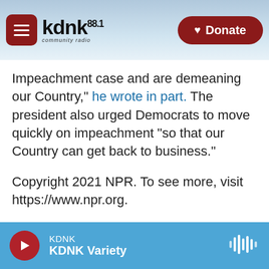[Figure (screenshot): KDNK 88.1 Community Radio website header with hamburger menu button, KDNK logo, mountain background, and red Donate button]
Impeachment case and are demeaning our Country," he wrote in part. The president also urged Democrats to move quickly on impeachment "so that our Country can get back to business."
Copyright 2021 NPR. To see more, visit https://www.npr.org.
KDNK  KDNK Variety